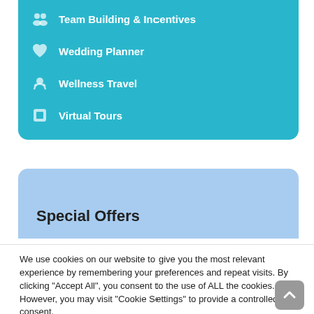Team Building & Incentives
Wedding Planner
Wellness Travel
Virtual Tours
Special Offers
We use cookies on our website to give you the most relevant experience by remembering your preferences and repeat visits. By clicking “Accept All”, you consent to the use of ALL the cookies. However, you may visit "Cookie Settings" to provide a controlled consent.
Cookie Settings | Accept All